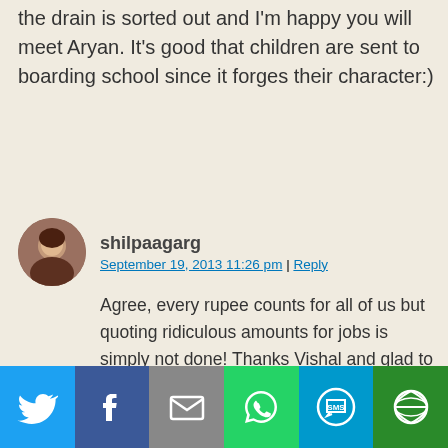the drain is sorted out and I'm happy you will meet Aryan. It's good that children are sent to boarding school since it forges their character:)
shilpaagarg
September 19, 2013 11:26 pm | Reply
Agree, every rupee counts for all of us but quoting ridiculous amounts for jobs is simply not done! Thanks Vishal and glad to know your views about boarding schools. Made my day 🙂
vishalbheeroo
September 21, 2013 8:26 pm | Reply
[Figure (infographic): Social sharing bar with Twitter, Facebook, Email, WhatsApp, SMS, and More buttons]